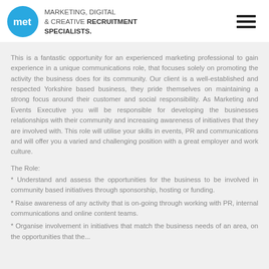MARKETING, DIGITAL & CREATIVE RECRUITMENT SPECIALISTS.
This is a fantastic opportunity for an experienced marketing professional to gain experience in a unique communications role, that focuses solely on promoting the activity the business does for its community. Our client is a well-established and respected Yorkshire based business, they pride themselves on maintaining a strong focus around their customer and social responsibility. As Marketing and Events Executive you will be responsible for developing the businesses relationships with their community and increasing awareness of initiatives that they are involved with. This role will utilise your skills in events, PR and communications and will offer you a varied and challenging position with a great employer and work culture.
The Role:
* Understand and assess the opportunities for the business to be involved in community based initiatives through sponsorship, hosting or funding.
* Raise awareness of any activity that is on-going through working with PR, internal communications and online content teams.
* Organise involvement in initiatives that match the business needs of an area, on the opportunities that the...